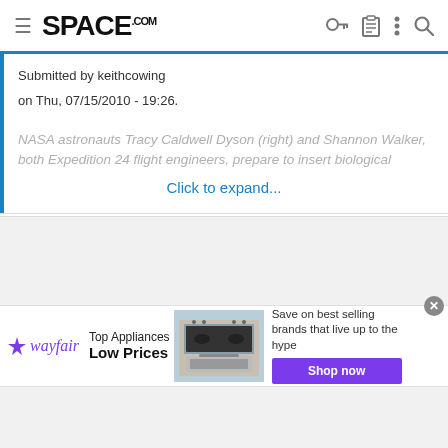SPACE.com
Submitted by keithcowing
on Thu, 07/15/2010 - 19:26.
NASA astronauts Tracy Caldwell Dyson (right) and Shannon Walker, both Expedition 24 flight engineers, prepare to insert biological
Click to expand...
[Figure (photo): Wayfair advertisement banner showing kitchen appliance (stove/range) with text: Top Appliances Low Prices, Save on best selling brands that live up to the hype, Shop now button]